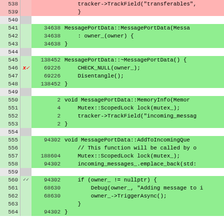[Figure (screenshot): Code coverage viewer showing C++ source lines 538-564 with line numbers, hit counts, marker column, and color-coded background (pink=not covered, green=covered, white=no code). Code includes MessagePortData class methods.]